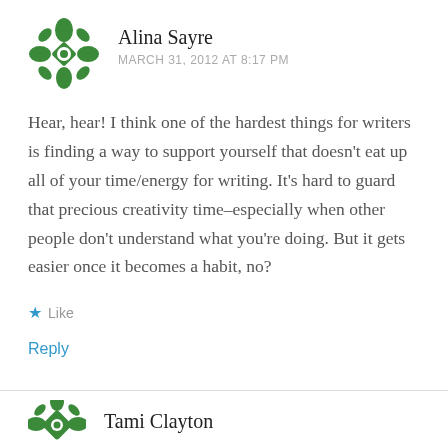[Figure (illustration): Green decorative avatar icon with floral/geometric pattern for user Alina Sayre]
Alina Sayre
MARCH 31, 2012 AT 8:17 PM
Hear, hear! I think one of the hardest things for writers is finding a way to support yourself that doesn't eat up all of your time/energy for writing. It's hard to guard that precious creativity time–especially when other people don't understand what you're doing. But it gets easier once it becomes a habit, no?
Like
Reply
[Figure (illustration): Green decorative avatar icon with floral/geometric pattern for user Tami Clayton]
Tami Clayton